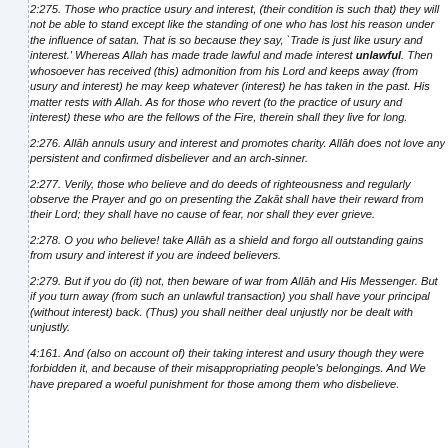2:275. Those who practice usury and interest, (their condition is such that) they will not be able to stand except like the standing of one who has lost his reason under the influence of satan. That is so because they say, `Trade is just like usury and interest.' Whereas Allah has made trade lawful and made interest unlawful. Then whosoever has received (this) admonition from his Lord and keeps away (from usury and interest) he may keep whatever (interest) he has taken in the past. His matter rests with Allah. As for those who revert (to the practice of usury and interest) these who are the fellows of the Fire, therein shall they live for long.
2:276. Allāh annuls usury and interest and promotes charity. Allāh does not love any persistent and confirmed disbeliever and an arch-sinner.
2:277. Verily, those who believe and do deeds of righteousness and regularly observe the Prayer and go on presenting the Zakāt shall have their reward from their Lord; they shall have no cause of fear, nor shall they ever grieve.
2:278. O you who believe! take Allāh as a shield and forgo all outstanding gains from usury and interest if you are indeed believers.
2:279. But if you do (it) not, then beware of war from Allāh and His Messenger. But if you turn away (from such an unlawful transaction) you shall have your principal (without interest) back. (Thus) you shall neither deal unjustly nor be dealt with unjustly.
4:161. And (also on account of) their taking interest and usury though they were forbidden it, and because of their misappropriating people's belongings. And We have prepared a woeful punishment for those among them who disbelieve.